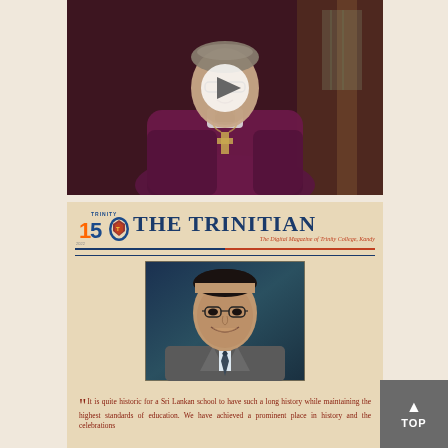[Figure (photo): Video thumbnail of a bishop or clergy member wearing purple robes and a pectoral cross, with a white play button overlay in the center. Dark interior background.]
[Figure (photo): Cover page of 'The Trinitian' digital magazine of Trinity College, Kandy, featuring the Trinity 150 anniversary logo, the magazine title in large navy blue serif text, a subtitle 'The Digital Magazine of Trinity College, Kandy' in red italic, a portrait photo of a South Asian man in a suit and glasses smiling, and a pull quote beginning: 'It is quite historic for a Sri Lankan school to have such a long history while maintaining the highest standards of education. We have achieved a prominent place in history and the celebrations']